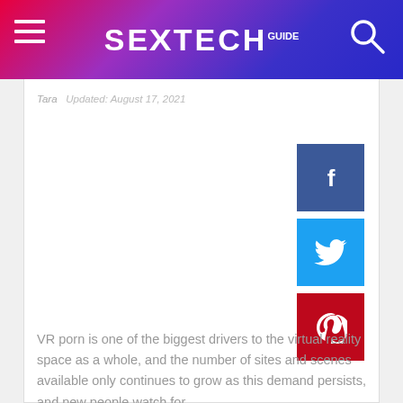SEXTECH GUIDE
Tara   Updated: August 17, 2021
[Figure (other): Social share buttons: Facebook (blue), Twitter (light blue), Pinterest (red)]
VR porn is one of the biggest drivers to the virtual reality space as a whole, and the number of sites and scenes available only continues to grow as this demand persists, and new people watch for ...